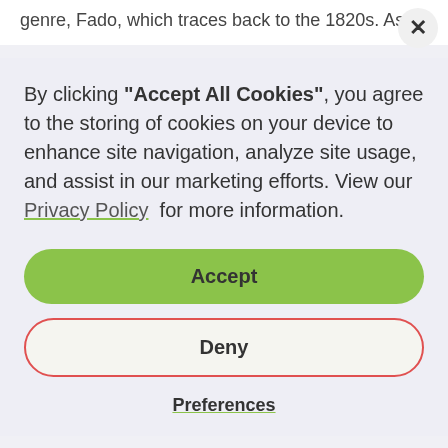genre, Fado, which traces back to the 1820s. As -
By clicking "Accept All Cookies", you agree to the storing of cookies on your device to enhance site navigation, analyze site usage, and assist in our marketing efforts. View our Privacy Policy for more information.
Accept
Deny
Preferences